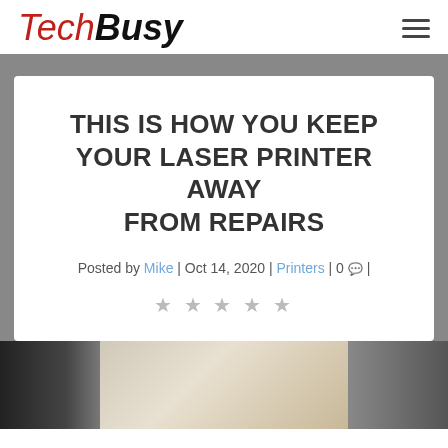TechBusy
THIS IS HOW YOU KEEP YOUR LASER PRINTER AWAY FROM REPAIRS
Posted by Mike | Oct 14, 2020 | Printers | 0 |
[Figure (other): Five empty star rating icons]
[Figure (photo): Photo of a person working at a desk with a printer and laptop, partially visible at bottom of page]